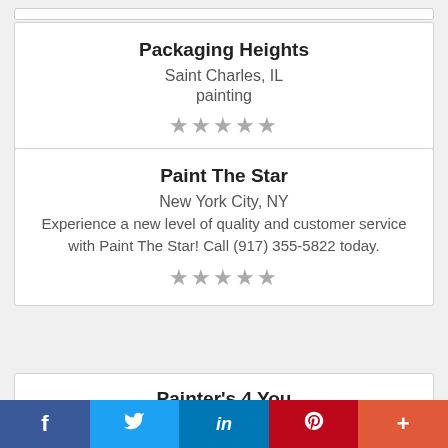Packaging Heights
Saint Charles, IL
painting
[Figure (other): 5 grey stars rating]
Paint The Star
New York City, NY
Experience a new level of quality and customer service with Paint The Star! Call (917) 355-5822 today.
[Figure (other): 5 grey stars rating]
Painter's 4 You
Taylorsville, NC
[Figure (other): Social share bar: Facebook, Twitter, LinkedIn, Pinterest, More]